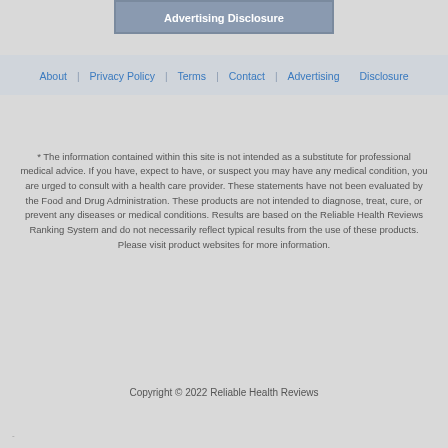Advertising Disclosure
About  Privacy Policy  Terms  Contact  Advertising Disclosure
* The information contained within this site is not intended as a substitute for professional medical advice. If you have, expect to have, or suspect you may have any medical condition, you are urged to consult with a health care provider. These statements have not been evaluated by the Food and Drug Administration. These products are not intended to diagnose, treat, cure, or prevent any diseases or medical conditions. Results are based on the Reliable Health Reviews Ranking System and do not necessarily reflect typical results from the use of these products. Please visit product websites for more information.
Copyright © 2022 Reliable Health Reviews